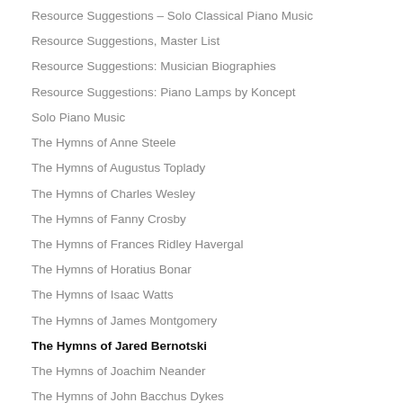Resource Suggestions – Solo Classical Piano Music
Resource Suggestions, Master List
Resource Suggestions: Musician Biographies
Resource Suggestions: Piano Lamps by Koncept
Solo Piano Music
The Hymns of Anne Steele
The Hymns of Augustus Toplady
The Hymns of Charles Wesley
The Hymns of Fanny Crosby
The Hymns of Frances Ridley Havergal
The Hymns of Horatius Bonar
The Hymns of Isaac Watts
The Hymns of James Montgomery
The Hymns of Jared Bernotski
The Hymns of Joachim Neander
The Hymns of John Bacchus Dykes